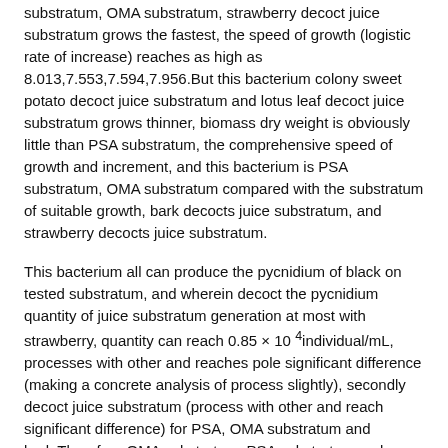substratum, OMA substratum, strawberry decoct juice substratum grows the fastest, the speed of growth (logistic rate of increase) reaches as high as 8.013,7.553,7.594,7.956.But this bacterium colony sweet potato decoct juice substratum and lotus leaf decoct juice substratum grows thinner, biomass dry weight is obviously little than PSA substratum, the comprehensive speed of growth and increment, and this bacterium is PSA substratum, OMA substratum compared with the substratum of suitable growth, bark decocts juice substratum, and strawberry decocts juice substratum.
This bacterium all can produce the pycnidium of black on tested substratum, and wherein decoct the pycnidium quantity of juice substratum generation at most with strawberry, quantity can reach 0.85 × 10 4individual/mL, processes with other and reaches pole significant difference (making a concrete analysis of process slightly), secondly decoct juice substratum (process with other and reach significant difference) for PSA, OMA substratum and bark.Therefore OMA substratum, PSA substratum and strawberry decoct juice substratum is the suitableeest product spore substratum.Because the